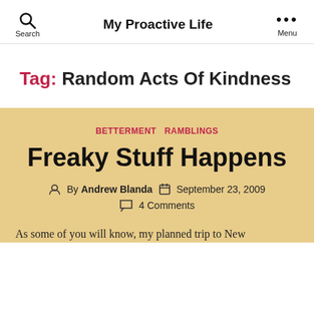My Proactive Life
Tag: Random Acts Of Kindness
BETTERMENT  RAMBLINGS
Freaky Stuff Happens
By Andrew Blanda  September 23, 2009  4 Comments
As some of you will know, my planned trip to New